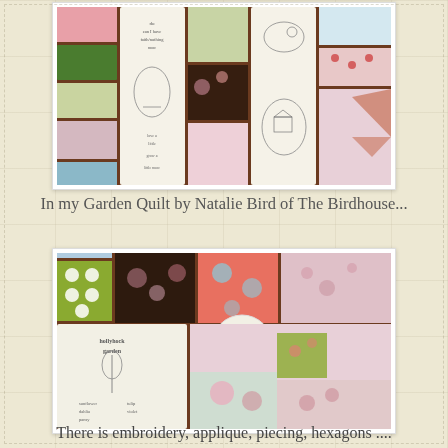[Figure (photo): Close-up photograph of a patchwork quilt with colorful fabric pieces in pink, green, blue, red polka dot, and floral patterns, separated by dark brown sashing. Embroidered panels with handwritten-style text are visible.]
In my Garden Quilt by Natalie Bird of The Birdhouse...
[Figure (photo): Close-up photograph of another section of the same patchwork quilt, showing colorful fabric squares in green polka dot, pink floral, blue floral, and other patterns with dark brown sashing and embroidered applique panels including 'Hollyhock Garden' text.]
There is embroidery, applique, piecing, hexagons ....